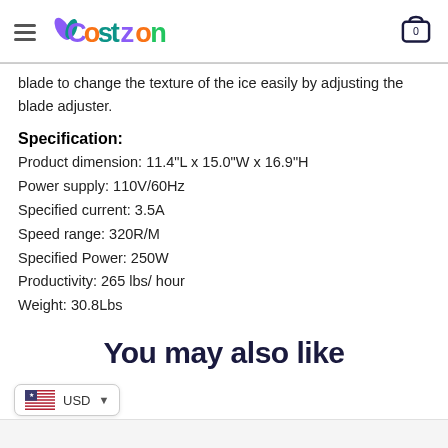Costzon
blade to change the texture of the ice easily by adjusting the blade adjuster.
Specification:
Product dimension: 11.4"L x 15.0"W x 16.9"H
Power supply: 110V/60Hz
Specified current: 3.5A
Speed range: 320R/M
Specified Power: 250W
Productivity: 265 lbs/ hour
Weight: 30.8Lbs
You may also like